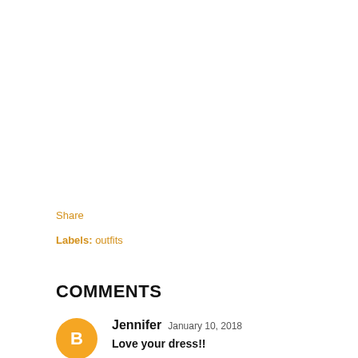Share
Labels: outfits
COMMENTS
Jennifer  January 10, 2018
Love your dress!!